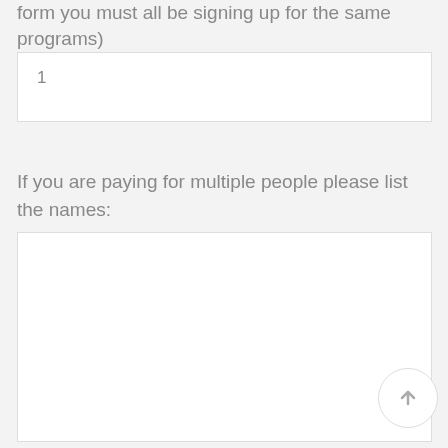form you must all be signing up for the same programs)
1
If you are paying for multiple people please list the names: